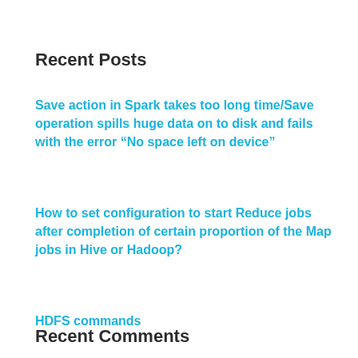Recent Posts
Save action in Spark takes too long time/Save operation spills huge data on to disk and fails with the error “No space left on device”
How to set configuration to start Reduce jobs after completion of certain proportion of the Map jobs in Hive or Hadoop?
HDFS commands
Recent Comments